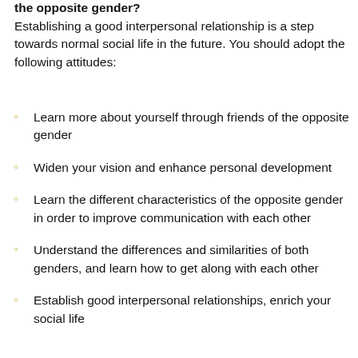the opposite gender?
Establishing a good interpersonal relationship is a step towards normal social life in the future. You should adopt the following attitudes:
Learn more about yourself through friends of the opposite gender
Widen your vision and enhance personal development
Learn the different characteristics of the opposite gender in order to improve communication with each other
Understand the differences and similarities of both genders, and learn how to get along with each other
Establish good interpersonal relationships, enrich your social life